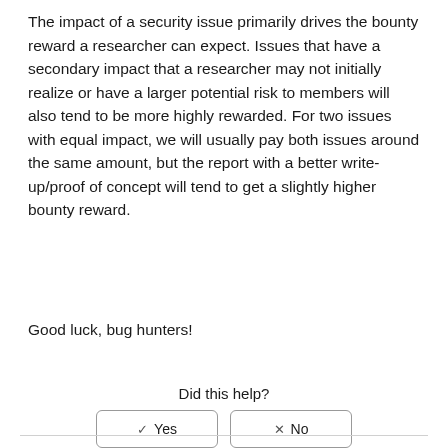The impact of a security issue primarily drives the bounty reward a researcher can expect. Issues that have a secondary impact that a researcher may not initially realize or have a larger potential risk to members will also tend to be more highly rewarded. For two issues with equal impact, we will usually pay both issues around the same amount, but the report with a better write-up/proof of concept will tend to get a slightly higher bounty reward.
Good luck, bug hunters!
Did this help?
[Figure (other): Two buttons labeled '✓ Yes' and '✗ No' with rounded rectangle borders]